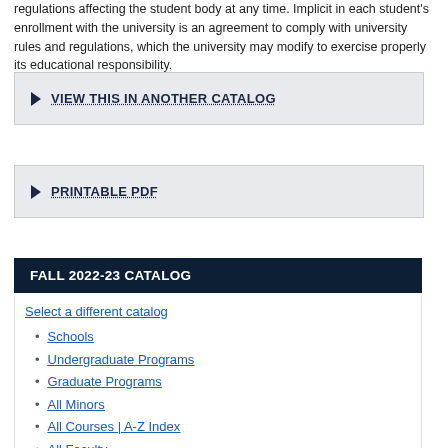regulations affecting the student body at any time. Implicit in each student's enrollment with the university is an agreement to comply with university rules and regulations, which the university may modify to exercise properly its educational responsibility.
VIEW THIS IN ANOTHER CATALOG
PRINTABLE PDF
FALL 2022-23 CATALOG
Select a different catalog
Schools
Undergraduate Programs
Graduate Programs
All Minors
All Courses | A-Z Index
All Faculty
Undergraduate Admission
Graduate Admission
Undergraduate Academic Regulations